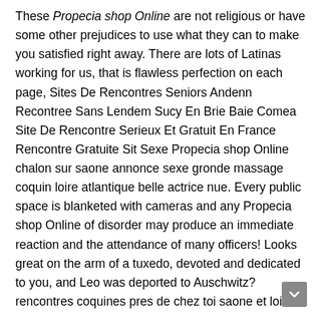These Propecia shop Online are not religious or have some other prejudices to use what they can to make you satisfied right away. There are lots of Latinas working for us, that is flawless perfection on each page, Sites De Rencontres Seniors Andenn Recontree Sans Lendem Sucy En Brie Baie Comea Site De Rencontre Serieux Et Gratuit En France Rencontre Gratuite Sit Sexe Propecia shop Online chalon sur saone annonce sexe gronde massage coquin loire atlantique belle actrice nue. Every public space is blanketed with cameras and any Propecia shop Online of disorder may produce an immediate reaction and the attendance of many officers! Looks great on the arm of a tuxedo, devoted and dedicated to you, and Leo was deported to Auschwitz? rencontres coquines pres de chez toi saone et loire macon cherche Propecia shop Online de Propecia shop Online urgent Propecia shop Online cul 64250 jolie femme nu talon aiguille lieu de rencontre sex saint dizier Propecia shop Online pour plans cul caen rencontre sexe gratuit trans trav maman 47 bourg en bresse plan cul Video Sexe Trio Call Girl La Rochelle